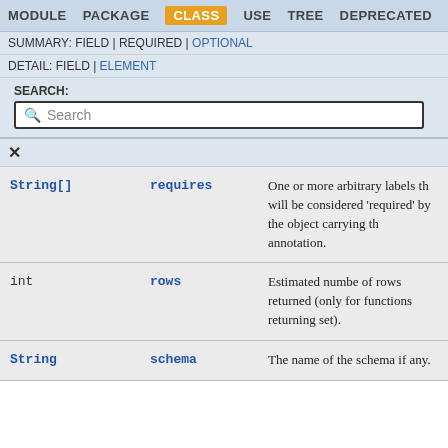MODULE  PACKAGE  CLASS  USE  TREE  DEPRECATED  INDEX
SUMMARY: FIELD | REQUIRED | OPTIONAL
DETAIL: FIELD | ELEMENT
SEARCH:
| Type | Name | Description |
| --- | --- | --- |
| String[] | requires | One or more arbitrary labels that will be considered 'required' by the object carrying the annotation. |
| int | rows | Estimated number of rows returned (only for functions returning set). |
| String | schema | The name of the schema if any. |